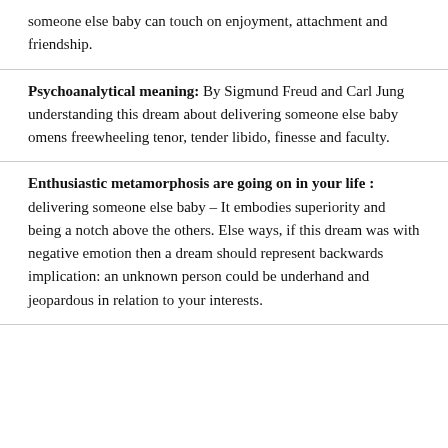someone else baby can touch on enjoyment, attachment and friendship.
Psychoanalytical meaning: By Sigmund Freud and Carl Jung understanding this dream about delivering someone else baby omens freewheeling tenor, tender libido, finesse and faculty.
Enthusiastic metamorphosis are going on in your life : delivering someone else baby – It embodies superiority and being a notch above the others. Else ways, if this dream was with negative emotion then a dream should represent backwards implication: an unknown person could be underhand and jeopardous in relation to your interests.